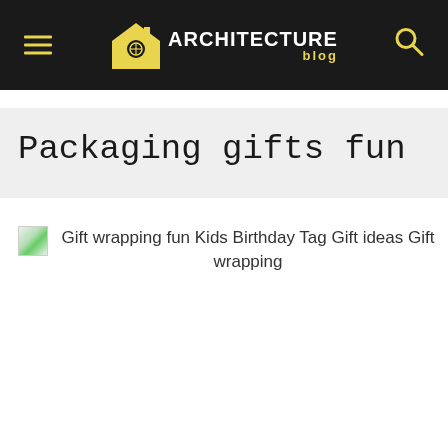ARCHITECTURE blog
Packaging gifts fun - 9 D
[Figure (photo): Broken image placeholder with alt text: Gift wrapping fun Kids Birthday Tag Gift ideas Gift wrapping]